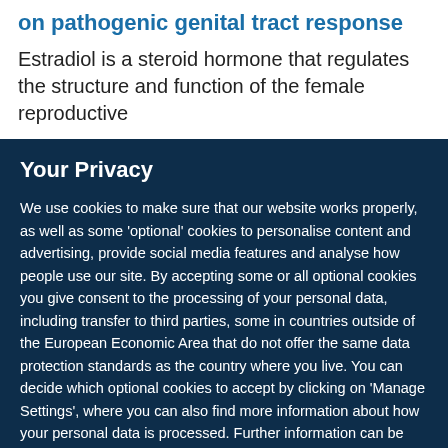on pathogenic genital tract response
Estradiol is a steroid hormone that regulates the structure and function of the female reproductive
Your Privacy
We use cookies to make sure that our website works properly, as well as some ‘optional’ cookies to personalise content and advertising, provide social media features and analyse how people use our site. By accepting some or all optional cookies you give consent to the processing of your personal data, including transfer to third parties, some in countries outside of the European Economic Area that do not offer the same data protection standards as the country where you live. You can decide which optional cookies to accept by clicking on ‘Manage Settings’, where you can also find more information about how your personal data is processed. Further information can be found in our privacy policy.
Accept all cookies
Manage preferences